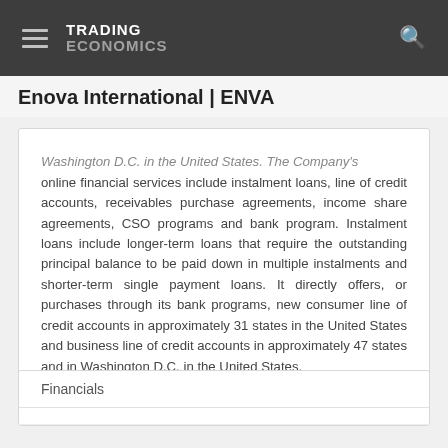TRADING ECONOMICS
Enova International | ENVA
Washington D.C. in the United States. The Company's online financial services include instalment loans, line of credit accounts, receivables purchase agreements, income share agreements, CSO programs and bank program. Instalment loans include longer-term loans that require the outstanding principal balance to be paid down in multiple instalments and shorter-term single payment loans. It directly offers, or purchases through its bank programs, new consumer line of credit accounts in approximately 31 states in the United States and business line of credit accounts in approximately 47 states and in Washington D.C. in the United States.
Financials